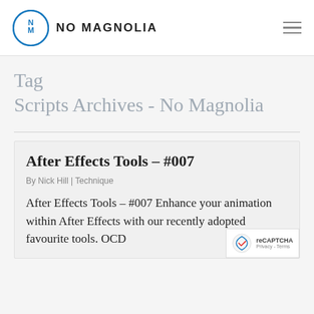NO MAGNOLIA
Tag
Scripts Archives - No Magnolia
After Effects Tools – #007
By Nick Hill | Technique
After Effects Tools – #007 Enhance your animation within After Effects with our recently adopted favourite tools. OCD